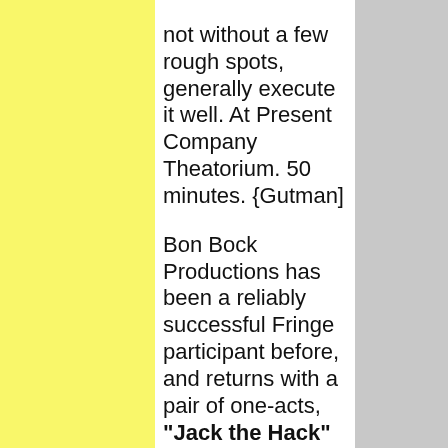not without a few rough spots, generally execute it well. At Present Company Theatorium. 50 minutes. {Gutman]
Bon Bock Productions has been a reliably successful Fringe participant before, and returns with a pair of one-acts, "Jack the Hack" and "Room to Swing an Axe," both written and directed by Alex Dawson, whose Deep In the Jeeps of Georgia we liked at the last Fringe Festival. Joseph Pacillo appears solo in the curtain-raiser as a man telling the story of his mentor Jack, a